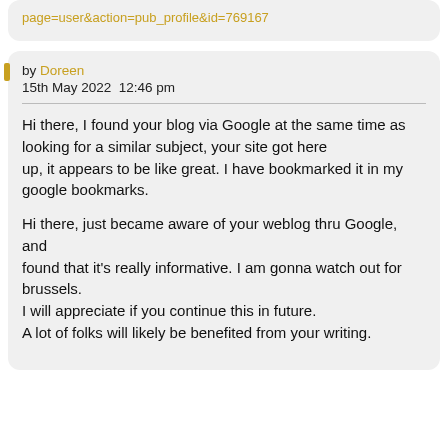page=user&action=pub_profile&id=769167
by Doreen
15th May 2022  12:46 pm
Hi there, I found your blog via Google at the same time as looking for a similar subject, your site got here
up, it appears to be like great. I have bookmarked it in my google bookmarks.

Hi there, just became aware of your weblog thru Google, and
found that it's really informative. I am gonna watch out for brussels.
I will appreciate if you continue this in future.
A lot of folks will likely be benefited from your writing.